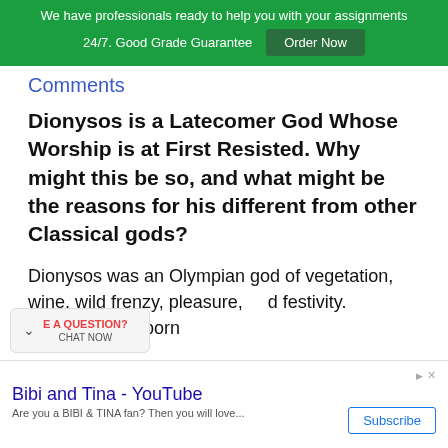We have professionals ready to help you with your assignments 24/7. Good Grade Guarantee Order Now
Comments
Dionysos is a Latecomer God Whose Worship is at First Resisted. Why might this be so, and what might be the reasons for his different from other Classical gods?
Dionysos was an Olympian god of vegetation, wine, wild frenzy, pleasure, and festivity. Dionysos was born
Bibi and Tina - YouTube  Are you a BIBI & TINA fan? Then you will love... Subscribe